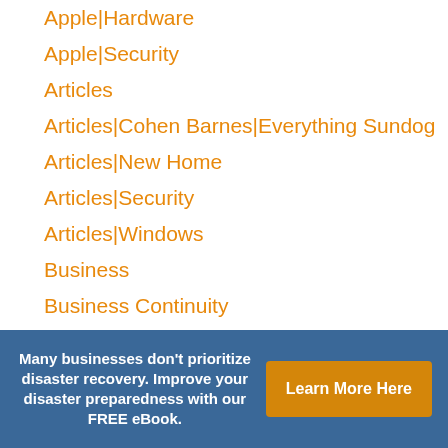Apple|Hardware
Apple|Security
Articles
Articles|Cohen Barnes|Everything Sundog
Articles|New Home
Articles|Security
Articles|Windows
Business
Business Continuity
Business Intelligence
Business Value
Many businesses don't prioritize disaster recovery. Improve your disaster preparedness with our FREE eBook. Learn More Here